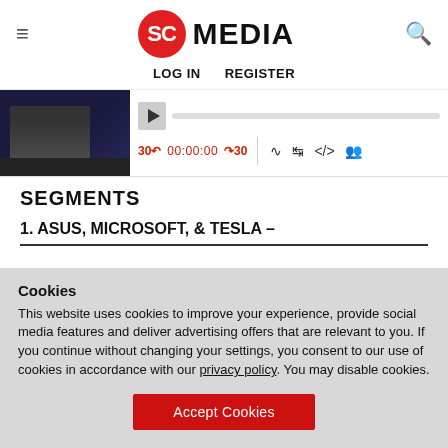SC MEDIA
LOG IN   REGISTER
[Figure (screenshot): Video player with thumbnail showing person at desk, playback controls showing 30-back, 00:00:00 timestamp, 30-forward, cast, download, embed, and share icons]
SEGMENTS
1. ASUS, MICROSOFT, & TESLA –
Cookies
This website uses cookies to improve your experience, provide social media features and deliver advertising offers that are relevant to you. If you continue without changing your settings, you consent to our use of cookies in accordance with our privacy policy. You may disable cookies.
Accept Cookies